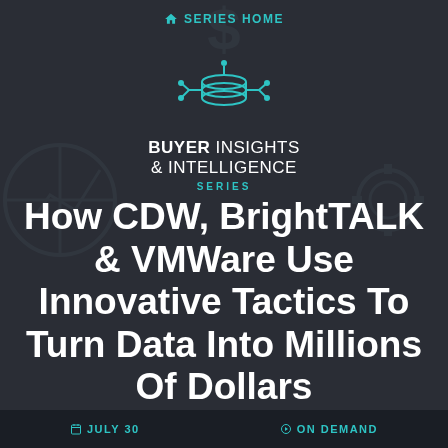SERIES HOME
[Figure (logo): Buyer Insights & Intelligence Series logo — stylized database icon with circuit nodes above, teal color, with text BUYER INSIGHTS & INTELLIGENCE SERIES below]
How CDW, BrightTALK & VMWare Use Innovative Tactics To Turn Data Into Millions Of Dollars
JULY 30   ON DEMAND